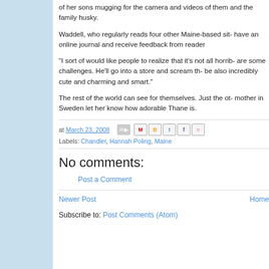of her sons mugging for the camera and videos of them and the family husky.
Waddell, who regularly reads four other Maine-based sites, have an online journal and receive feedback from readers.
"I sort of would like people to realize that it's not all horrible, are some challenges. He'll go into a store and scream th- be also incredibly cute and charming and smart."
The rest of the world can see for themselves. Just the other mother in Sweden let her know how adorable Thane is.
at March 23, 2008  [share icons]  Labels: Chandler, Hannah Poling, Maine
No comments:
Post a Comment
Newer Post   Home
Subscribe to: Post Comments (Atom)